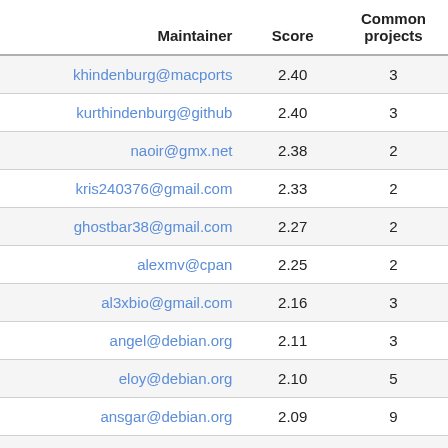| Maintainer | Score | Common projects |
| --- | --- | --- |
| khindenburg@macports | 2.40 | 3 |
| kurthindenburg@github | 2.40 | 3 |
| naoir@gmx.net | 2.38 | 2 |
| kris240376@gmail.com | 2.33 | 2 |
| ghostbar38@gmail.com | 2.27 | 2 |
| alexmv@cpan | 2.25 | 2 |
| al3xbio@gmail.com | 2.16 | 3 |
| angel@debian.org | 2.11 | 3 |
| eloy@debian.org | 2.10 | 5 |
| ansgar@debian.org | 2.09 | 9 |
| jondaley.guest@alioth.debian.org | 2.08 | 1 |